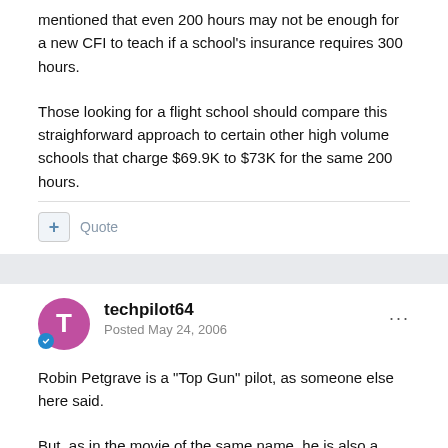mentioned that even 200 hours may not be enough for a new CFI to teach if a school's insurance requires 300 hours.
Those looking for a flight school should compare this straighforward approach to certain other high volume schools that charge $69.9K to $73K for the same 200 hours.
Quote
techpilot64
Posted May 24, 2006
Robin Petgrave is a "Top Gun" pilot, as someone else here said.
But, as in the movie of the same name, he is also a showboat.